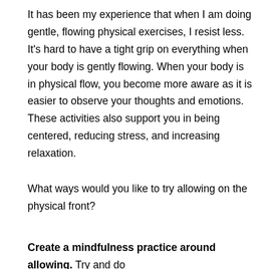It has been my experience that when I am doing gentle, flowing physical exercises, I resist less. It's hard to have a tight grip on everything when your body is gently flowing. When your body is in physical flow, you become more aware as it is easier to observe your thoughts and emotions. These activities also support you in being centered, reducing stress, and increasing relaxation.
What ways would you like to try allowing on the physical front?
Create a mindfulness practice around allowing. Try and do